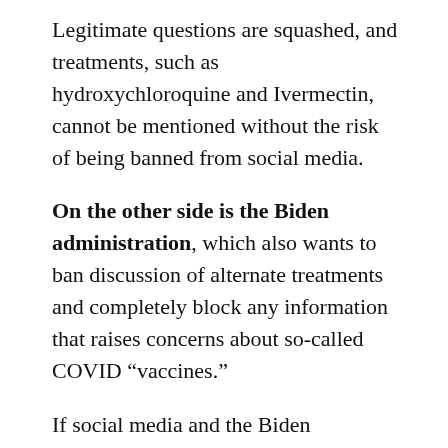Legitimate questions are squashed, and treatments, such as hydroxychloroquine and Ivermectin, cannot be mentioned without the risk of being banned from social media.
On the other side is the Biden administration, which also wants to ban discussion of alternate treatments and completely block any information that raises concerns about so-called COVID “vaccines.”
If social media and the Biden administration both favor censorship, what could they be arguing about?